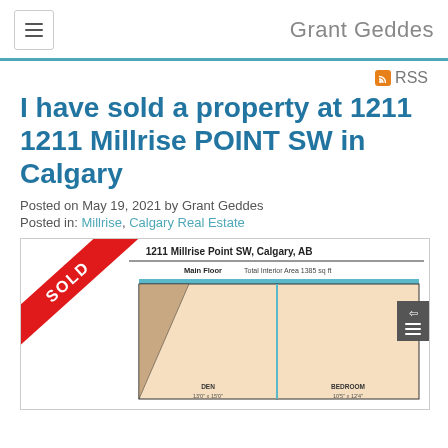Grant Geddes
RSS
I have sold a property at 1211 1211 Millrise POINT SW in Calgary
Posted on May 19, 2021 by Grant Geddes
Posted in: Millrise, Calgary Real Estate
[Figure (schematic): Floor plan of 1211 Millrise Point SW, Calgary, AB. Main Floor. Total Interior Area 1385 sq ft. Shows DEN and BEDROOM rooms. Red SOLD banner overlaid diagonally on upper left corner.]